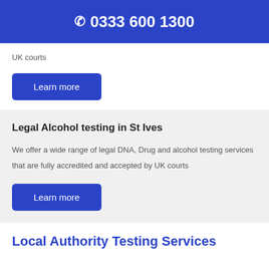0333 600 1300
UK courts
Learn more
Legal Alcohol testing in St Ives
We offer a wide range of legal DNA, Drug and alcohol testing services that are fully accredited and accepted by UK courts
Learn more
Local Authority Testing Services